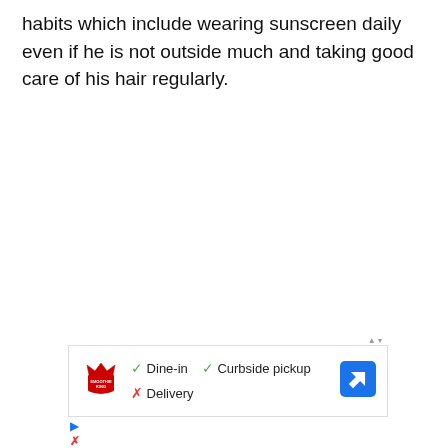habits which include wearing sunscreen daily even if he is not outside much and taking good care of his hair regularly.
[Figure (other): Advertisement panel showing Smoothie King logo with green checkmarks for Dine-in and Curbside pickup, red X for Delivery, and a blue navigation arrow icon.]